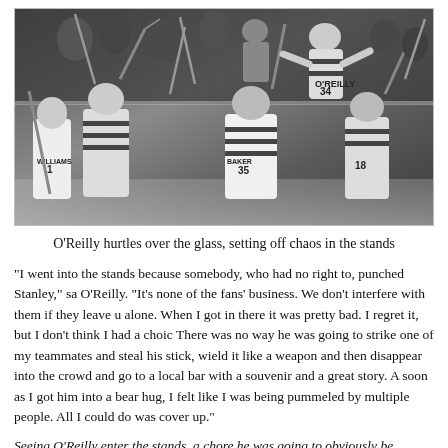[Figure (photo): Black and white photograph of a hockey brawl where player O'Reilly (number 34) hurdles over the glass into the stands. Several players with hockey sticks are visible from behind, including WILLIAMS #1, BAKER #35, and #18. Fans and officials are visible in the background in the stands.]
O'Reilly hurtles over the glass, setting off chaos in the stands
"I went into the stands because somebody, who had no right to, punched Stanley," sa O'Reilly. "It's none of the fans' business. We don't interfere with them if they leave u alone. When I got in there it was pretty bad. I regret it, but I don't think I had a choic There was no way he was going to strike one of my teammates and steal his stick, wield it like a weapon and then disappear into the crowd and go to a local bar with a souvenir and a great story. A soon as I got him into a bear hug, I felt like I was being pummeled by multiple people. All I could do was cover up."
Seeing O'Reilly enter the stands, a chore he was going to obviously be heavily...